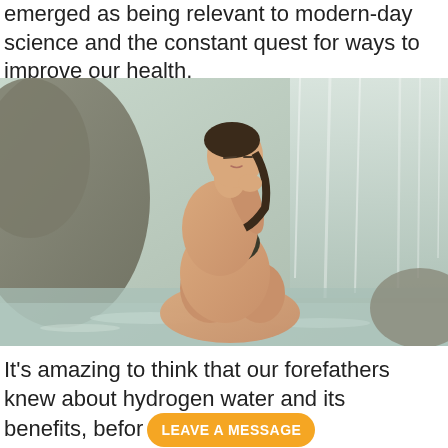emerged as being relevant to modern-day science and the constant quest for ways to improve our health.
[Figure (photo): A woman in a dark bikini sits relaxed by a waterfall, eyes closed, hand raised to her cheek, water flowing around rocks in the background.]
It's amazing to think that our forefathers knew about hydrogen water and its benefits, befor [LEAVE A MESSAGE button]